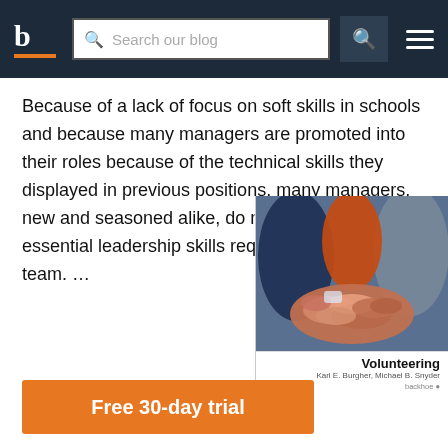b  Search our blog
Because of a lack of focus on soft skills in schools and because many managers are promoted into their roles because of the technical skills they displayed in previous positions, many managers, new and seasoned alike, do not possess the essential leadership skills required to manage a team. …
[Figure (photo): Book cover titled 'Volunteering' by Karl E. Burgher, Michael B. Snyder, with image of people stacking hands together in a team gesture]
Free 30-day trial